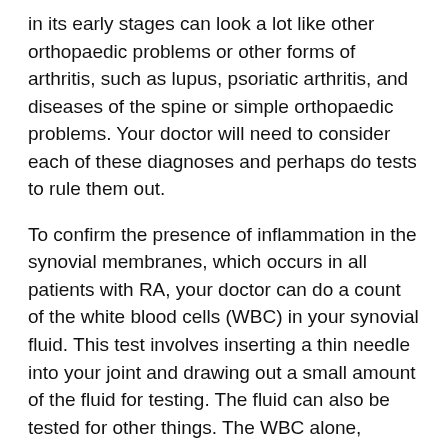in its early stages can look a lot like other orthopaedic problems or other forms of arthritis, such as lupus, psoriatic arthritis, and diseases of the spine or simple orthopaedic problems. Your doctor will need to consider each of these diagnoses and perhaps do tests to rule them out.
To confirm the presence of inflammation in the synovial membranes, which occurs in all patients with RA, your doctor can do a count of the white blood cells (WBC) in your synovial fluid. This test involves inserting a thin needle into your joint and drawing out a small amount of the fluid for testing. The fluid can also be tested for other things. The WBC alone, however, doesn't prove that you have RA. Synovitis of the joints can occur even if you don't have RA therefore your doctor will need to rule out other causes of synovitis.
Your doctor will also ask you to undergo a blood test